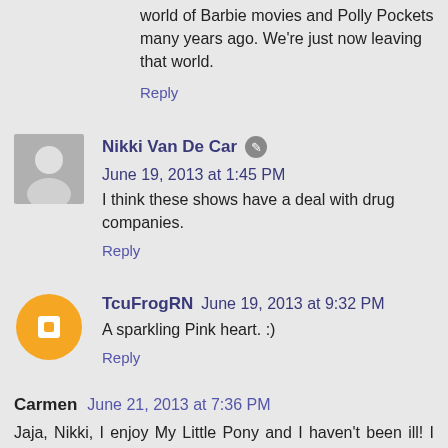world of Barbie movies and Polly Pockets many years ago. We're just now leaving that world.
Reply
Nikki Van De Car  June 19, 2013 at 1:45 PM
I think these shows have a deal with drug companies.
Reply
TcuFrogRN  June 19, 2013 at 9:32 PM
A sparkling Pink heart. :)
Reply
Carmen  June 21, 2013 at 7:36 PM
Jaja, Nikki, I enjoy My Little Pony and I haven't been ill! I was forced to watch it by my son, that is... ahem... not Willow's age! He's more your age than hers, jaja! But he also "forces" me to watch the Cirque of Soleil, all of Sarah